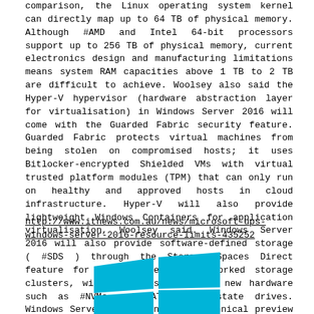comparison, the Linux operating system kernel can directly map up to 64 TB of physical memory. Although #AMD and Intel 64-bit processors support up to 256 TB of physical memory, current electronics design and manufacturing limitations means system RAM capacities above 1 TB to 2 TB are difficult to achieve. Woolsey also said the Hyper-V hypervisor (hardware abstraction layer for virtualisation) in Windows Server 2016 will come with the Guarded Fabric security feature. Guarded Fabric protects virtual machines from being stolen on compromised hosts; it uses Bitlocker-encrypted Shielded VMs with virtual trusted platform modules (TPM) that can only run on healthy and approved hosts in cloud infrastructure. Hyper-V will also provide lightweight Windows Containers for application virtualisation, Woolsey said. Windows Server 2016 will also provide software-defined storage ( #SDS ) through the Storage Spaces Direct feature for hyper-converged, networked storage clusters, with better support for new hardware such as #NVMe and SATA solid state drives. Windows Server is currently in technical preview and is expected to be released at the end of September this year.
http://www.itnews.com.au/news/microsoft-ups-windows-server-2016-resource-limits-435252
[Figure (logo): Windows logo — four colored squares (cyan/blue) arranged in a 2x2 grid forming the Windows flag shape]